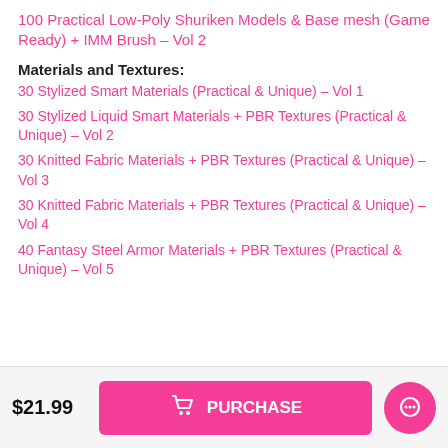100 Practical Low-Poly Shuriken Models & Base mesh (Game Ready) + IMM Brush – Vol 2
Materials and Textures:
30 Stylized Smart Materials (Practical & Unique) – Vol 1
30 Stylized Liquid Smart Materials + PBR Textures (Practical & Unique) – Vol 2
30 Knitted Fabric Materials + PBR Textures (Practical & Unique) – Vol 3
30 Knitted Fabric Materials + PBR Textures (Practical & Unique) – Vol 4
40 Fantasy Steel Armor Materials + PBR Textures (Practical & Unique) – Vol 5
$21.99
PURCHASE